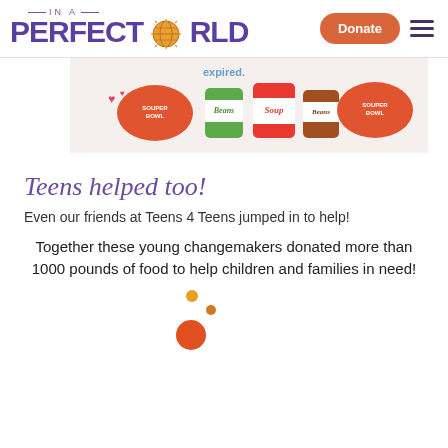IN A PERFECT WORLD — Donate [hamburger menu]
[Figure (photo): Photo of illustrated paper cutouts showing soup cans (Beans, Soup, Beans labels) and Souper Bowl bowls on a white surface, with text 'expired.' visible at top]
Teens helped too!
Even our friends at Teens 4 Teens jumped in to help!
Together these young changemakers donated more than 1000 pounds of food to help children and families in need!
[Figure (illustration): Three decorative dots in orange/red tones arranged in a small cluster at the bottom center of the page]